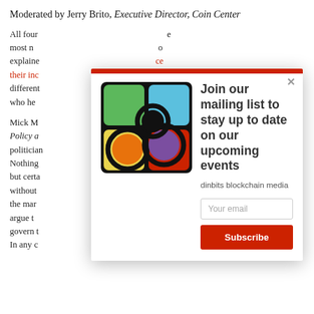Moderated by Jerry Brito, Executive Director, Coin Center
All four ... most n... explained... their inc... different... who he...
[Figure (logo): Dinbits blockchain media logo: colorful circles and squares on black background]
Join our mailing list to stay up to date on our upcoming events
dinbits blockchain media
Your email
Subscribe
Mick M... Policy a... politician... Nothing... but certa... without... the mar... argue t... govern t... In any c...